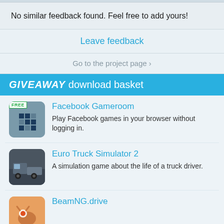No similar feedback found. Feel free to add yours!
Leave feedback
Go to the project page ›
GIVEAWAY download basket
[Figure (screenshot): Facebook Gameroom app icon with FREE badge and blue grid pattern on grey background]
Facebook Gameroom
Play Facebook games in your browser without logging in.
[Figure (screenshot): Euro Truck Simulator 2 app icon showing a truck on dark background]
Euro Truck Simulator 2
A simulation game about the life of a truck driver.
[Figure (screenshot): BeamNG.drive app icon with orange background and stylized figure]
BeamNG.drive